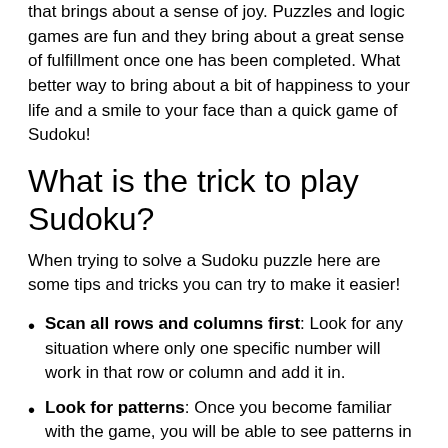that brings about a sense of joy. Puzzles and logic games are fun and they bring about a great sense of fulfillment once one has been completed. What better way to bring about a bit of happiness to your life and a smile to your face than a quick game of Sudoku!
What is the trick to play Sudoku?
When trying to solve a Sudoku puzzle here are some tips and tricks you can try to make it easier!
Scan all rows and columns first: Look for any situation where only one specific number will work in that row or column and add it in.
Look for patterns: Once you become familiar with the game, you will be able to see patterns in the numbers that will identify which ones are missing and where these missing numbers will go. Always keep your eyes open for these patterns.
Practice!: One of the best ways to become an expert